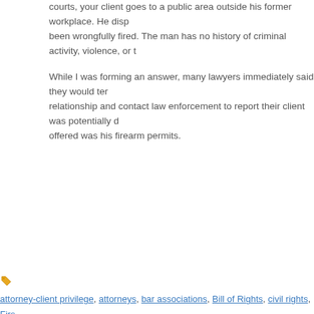courts, your client goes to a public area outside his former workplace. He displ... been wrongfully fired. The man has no history of criminal activity, violence, or th...
While I was forming an answer, many lawyers immediately said they would term... relationship and contact law enforcement to report their client was potentially da... offered was his firearm permits.
attorney-client privilege, attorneys, bar associations, Bill of Rights, civil rights, Firs... lawyers, right to privacy, second amendment